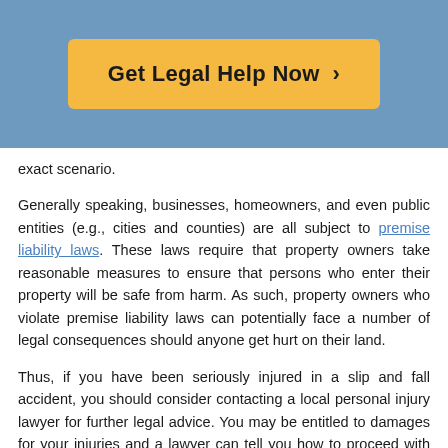[Figure (other): Orange call-to-action button labeled 'Get Legal Help Now >' on a blue background header]
exact scenario.
Generally speaking, businesses, homeowners, and even public entities (e.g., cities and counties) are all subject to premise liability laws. These laws require that property owners take reasonable measures to ensure that persons who enter their property will be safe from harm. As such, property owners who violate premise liability laws can potentially face a number of legal consequences should anyone get hurt on their land.
Thus, if you have been seriously injured in a slip and fall accident, you should consider contacting a local personal injury lawyer for further legal advice. You may be entitled to damages for your injuries and a lawyer can tell you how to proceed with your case.